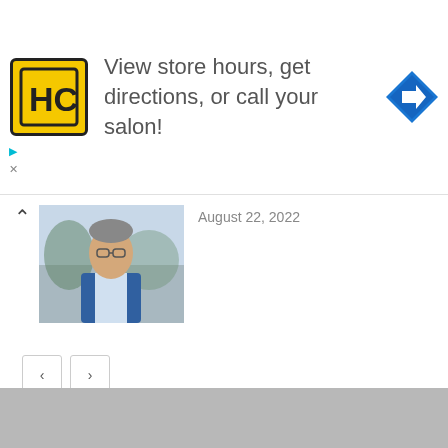[Figure (infographic): Advertisement banner: HC logo (yellow square with HC letters), text 'View store hours, get directions, or call your salon!', blue diamond navigation arrow icon]
August 22, 2022
[Figure (photo): Photo of a man in a blue suit jacket wearing glasses, outdoors]
[Figure (infographic): Social media stats: Facebook 0 Fans, Twitter 0 Followers, YouTube 0 Subscribers]